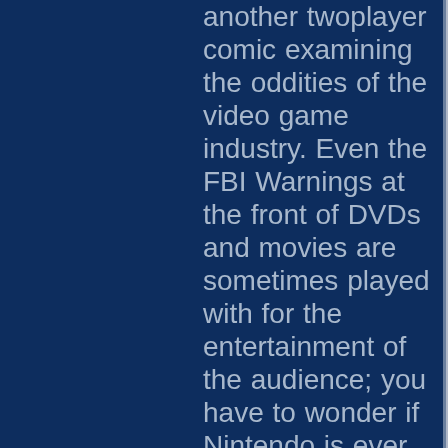another twoplayer comic examining the oddities of the video game industry. Even the FBI Warnings at the front of DVDs and movies are sometimes played with for the entertainment of the audience; you have to wonder if Nintendo is ever tempted to